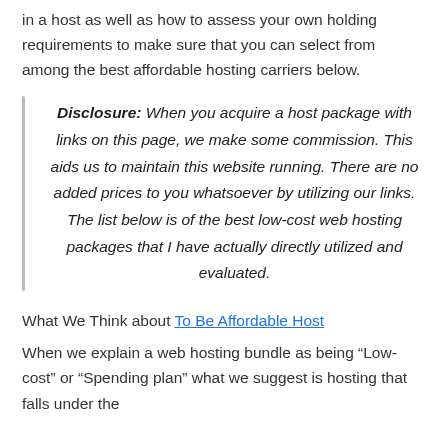in a host as well as how to assess your own holding requirements to make sure that you can select from among the best affordable hosting carriers below.
Disclosure: When you acquire a host package with links on this page, we make some commission. This aids us to maintain this website running. There are no added prices to you whatsoever by utilizing our links. The list below is of the best low-cost web hosting packages that I have actually directly utilized and evaluated.
What We Think about To Be Affordable Host
When we explain a web hosting bundle as being “Low-cost” or “Spending plan” what we suggest is hosting that falls under the